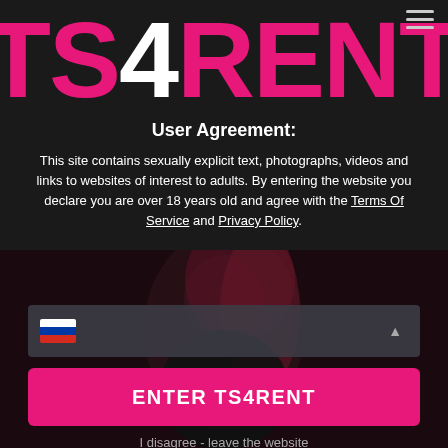TS4RENT
User Agreement:
This site contains sexually explicit text, photographs, videos and links to websites of interest to adults. By entering the website you declare you are over 18 years old and agree with the Terms Of Service and Privacy Policy.
[Figure (screenshot): Photo of a person with red hair and tattoos against a dark background]
ENTER TS4RENT
I disagree - leave the website